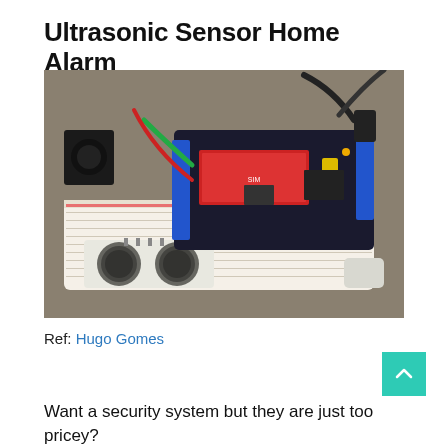Ultrasonic Sensor Home Alarm
[Figure (photo): Photo of an Arduino-based ultrasonic sensor home alarm prototype. A breadboard holds an ultrasonic sensor module (HC-SR04) at the front with two cylindrical transducers. A GSM/Arduino shield board with blue connectors, red and green wires, and a small yellow component sits on top. Black and red wires run to the top. Background is a gray surface.]
Ref: Hugo Gomes
Want a security system but they are just too pricey?